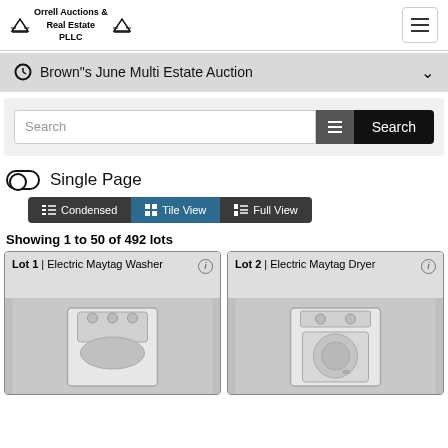Orrell Auctions & Real Estate PLLC
Brown"s June Multi Estate Auction
Search
Single Page
Condensed  Tile View  Full View
Showing 1 to 50 of 492 lots
Lot 1 | Electric Maytag Washer
[Figure (photo): Photo of a white Electric Maytag Washer top-load washing machine]
Lot 2 | Electric Maytag Dryer
[Figure (photo): Photo of a white Electric Maytag Dryer]